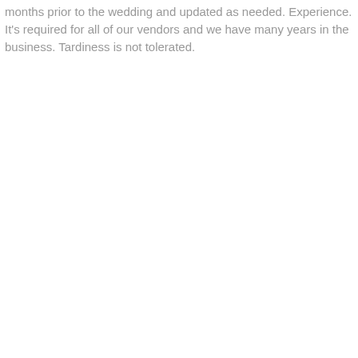months prior to the wedding and updated as needed. Experience. It's required for all of our vendors and we have many years in the business. Tardiness is not tolerated.